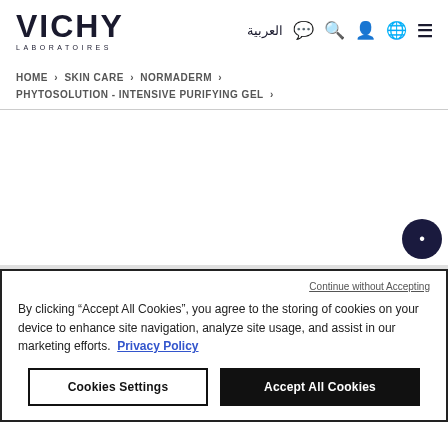VICHY LABORATOIRES | العربية [icons] HOME > SKIN CARE > NORMADERM > PHYTOSOLUTION - INTENSIVE PURIFYING GEL >
By clicking "Accept All Cookies", you agree to the storing of cookies on your device to enhance site navigation, analyze site usage, and assist in our marketing efforts. Privacy Policy
Continue without Accepting
Cookies Settings | Accept All Cookies